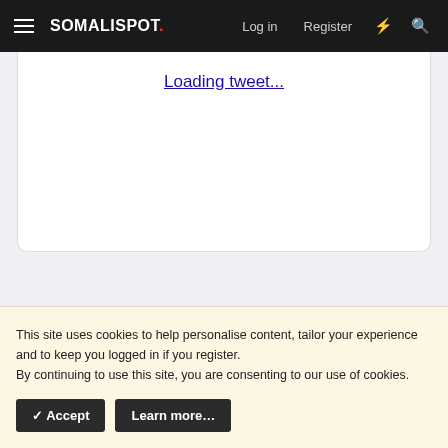SOMALISPOT. Log in Register
Loading tweet...
This site uses cookies to help personalise content, tailor your experience and to keep you logged in if you register.
By continuing to use this site, you are consenting to our use of cookies.
Accept   Learn more...